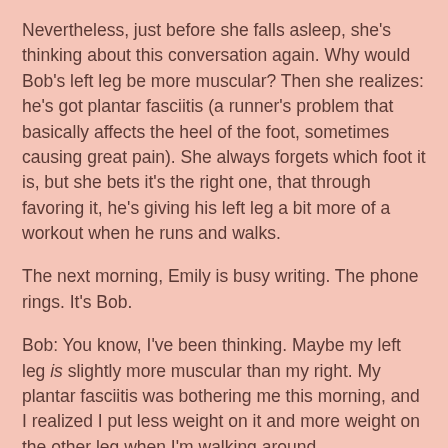Nevertheless, just before she falls asleep, she's thinking about this conversation again. Why would Bob's left leg be more muscular? Then she realizes: he's got plantar fasciitis (a runner's problem that basically affects the heel of the foot, sometimes causing great pain). She always forgets which foot it is, but she bets it's the right one, that through favoring it, he's giving his left leg a bit more of a workout when he runs and walks.
The next morning, Emily is busy writing. The phone rings. It's Bob.
Bob: You know, I've been thinking. Maybe my left leg is slightly more muscular than my right. My plantar fasciitis was bothering me this morning, and I realized I put less weight on it and more weight on the other leg when I'm walking around.
Emily: That's what I was thinking last night, too. The plantar fasciitis is in your right leg, right?
Bob: Yes. See what a good detective you are? This is why you ought to be keeping all your options open when you